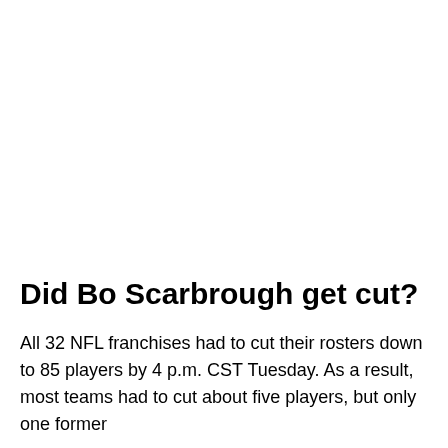Did Bo Scarbrough get cut?
All 32 NFL franchises had to cut their rosters down to 85 players by 4 p.m. CST Tuesday. As a result, most teams had to cut about five players, but only one former